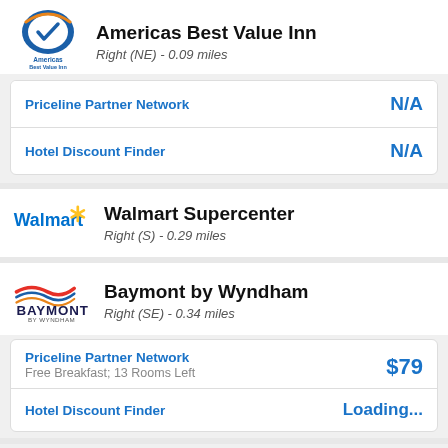Americas Best Value Inn
Right (NE) - 0.09 miles
| Provider | Price |
| --- | --- |
| Priceline Partner Network | N/A |
| Hotel Discount Finder | N/A |
Walmart Supercenter
Right (S) - 0.29 miles
Baymont by Wyndham
Right (SE) - 0.34 miles
| Provider | Price |
| --- | --- |
| Priceline Partner Network
Free Breakfast; 13 Rooms Left | $79 |
| Hotel Discount Finder | Loading... |